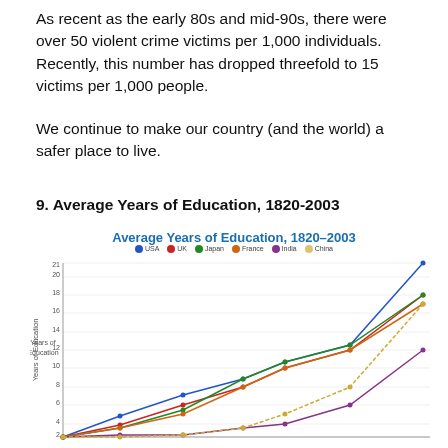As recent as the early 80s and mid-90s, there were over 50 violent crime victims per 1,000 individuals. Recently, this number has dropped threefold to 15 victims per 1,000 people.
We continue to make our country (and the world) a safer place to live.
9. Average Years of Education, 1820-2003
[Figure (line-chart): Average Years of Education, 1820–2003]